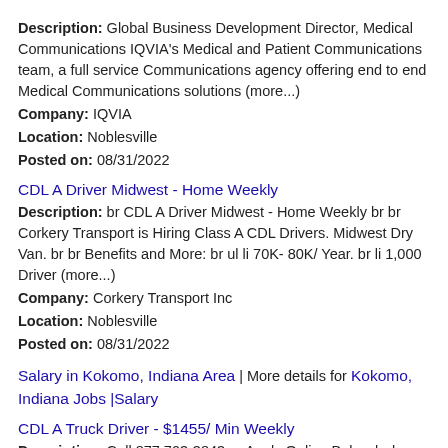Description: Global Business Development Director, Medical Communications IQVIA's Medical and Patient Communications team, a full service Communications agency offering end to end Medical Communications solutions (more...)
Company: IQVIA
Location: Noblesville
Posted on: 08/31/2022
CDL A Driver Midwest - Home Weekly
Description: br CDL A Driver Midwest - Home Weekly br br Corkery Transport is Hiring Class A CDL Drivers. Midwest Dry Van. br br Benefits and More: br ul li 70K- 80K/ Year. br li 1,000 Driver (more...)
Company: Corkery Transport Inc
Location: Noblesville
Posted on: 08/31/2022
Salary in Kokomo, Indiana Area | More details for Kokomo, Indiana Jobs |Salary
CDL A Truck Driver - $1455/ Min Weekly
Description: Call 877 703-3843 or Apply Online Below br br CDL A Truck Driver - 1455 Min Guaratee 5K Bonus We deliver non-perishable goods. Average round trip is 495 miles. 5 day at work, each with 8...